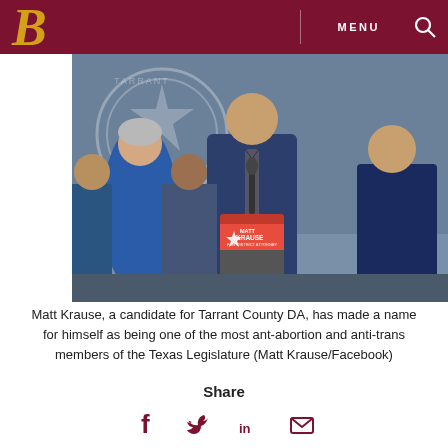MENU [search icon] — Branded news site header with logo
[Figure (photo): Matt Krause speaking at a podium with a 'MATT KRAUSE FOR DISTRICT ATTORNEY' sign, surrounded by supporters. A Texas state seal is visible in the background.]
Matt Krause, a candidate for Tarrant County DA, has made a name for himself as being one of the most ant-abortion and anti-trans members of the Texas Legislature (Matt Krause/Facebook)
Share
[Figure (infographic): Social share icons: Facebook, Twitter, LinkedIn, Email]